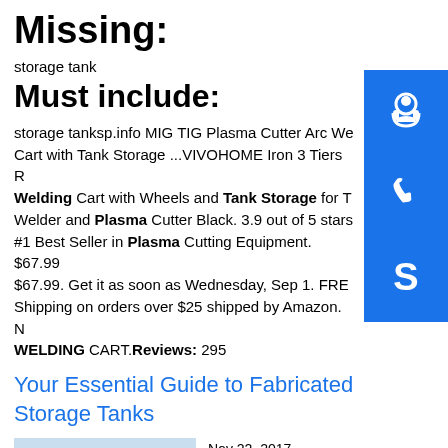Missing:
storage tank
Must include:
storage tanksp.info MIG TIG Plasma Cutter Arc Welding Cart with Tank Storage ...VIVOHOME Iron 3 Tiers Rolling Welding Cart with Wheels and Tank Storage for TIG Welder and Plasma Cutter Black. 3.9 out of 5 stars. #1 Best Seller in Plasma Cutting Equipment. $67.99 $67.99. Get it as soon as Wednesday, Sep 1. FREE Shipping on orders over $25 shipped by Amazon. WELDING CART.Reviews: 295
Your Essential Guide to Fabricated Storage Tanks
[Figure (photo): Blue industrial storage tanks outdoors]
Nov 22, 2017 · Swanton Welding will work with you to choose the proper type of tank and best material to